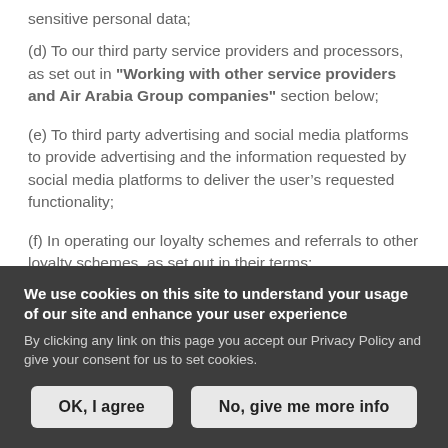sensitive personal data;
(d) To our third party service providers and processors, as set out in "Working with other service providers and Air Arabia Group companies" section below;
(e) To third party advertising and social media platforms to provide advertising and the information requested by social media platforms to deliver the user’s requested functionality;
(f) In operating our loyalty schemes and referrals to other loyalty schemes, as set out in their terms;
We use cookies on this site to understand your usage of our site and enhance your user experience
By clicking any link on this page you accept our Privacy Policy and give your consent for us to set cookies.